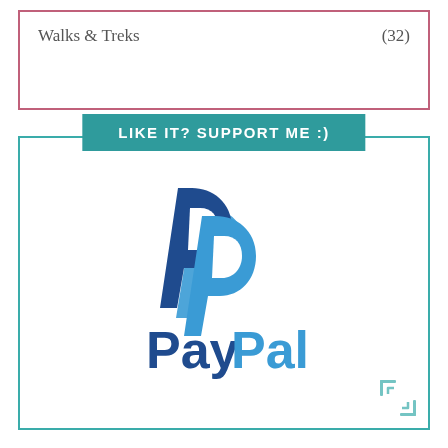Walks & Treks    (32)
LIKE IT? SUPPORT ME :)
[Figure (logo): PayPal logo with two overlapping P letters in dark blue and light blue, and the word PayPal in bold blue and light blue text below]